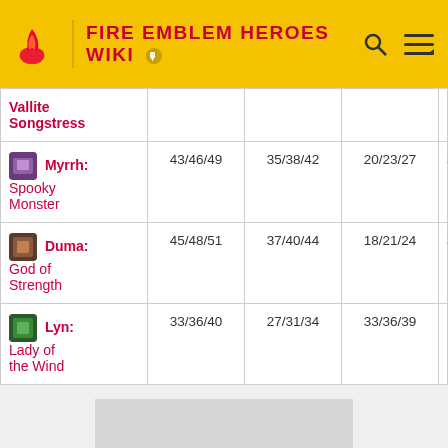FIRE EMBLEM HEROES WIKI
| Hero | HP | ATK | SPD | DEF |
| --- | --- | --- | --- | --- |
| Vallite Songstress |  |  |  |  |
| Myrrh: Spooky Monster | 43/46/49 | 35/38/42 | 20/23/27 | 36/40/43 |
| Duma: God of Strength | 45/48/51 | 37/40/44 | 18/21/24 | 31/34/37 |
| Lyn: Lady of the Wind | 33/36/40 | 27/31/34 | 33/36/39 | 18/21/24 |
[Figure (other): Advertisement placeholder gray box]